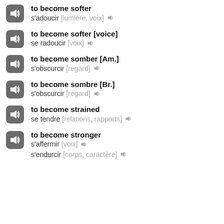to become softer / s'adoucir [lumière, voix]
to become softer [voice] / se radoucir [voix]
to become somber [Am.] / s'obscurcir [regard]
to become sombre [Br.] / s'obscurcir [regard]
to become strained / se tendre [relations, rapports]
to become stronger / s'affermir [voix] / s'endurcir [corps, caractère]